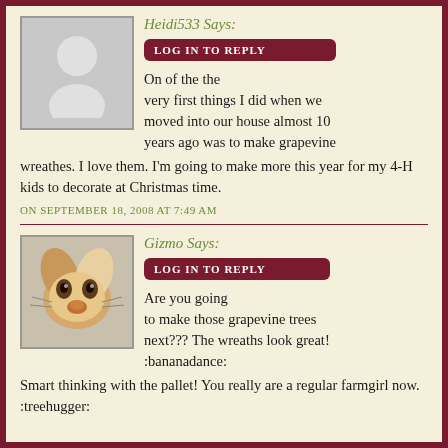Heidi533 Says:
LOG IN TO REPLY
On of the the very first things I did when we moved into our house almost 10 years ago was to make grapevine wreathes. I love them. I'm going to make more this year for my 4-H kids to decorate at Christmas time.
ON SEPTEMBER 18, 2008 AT 7:49 AM
Gizmo Says:
LOG IN TO REPLY
Are you going to make those grapevine trees next??? The wreaths look great! :bananadance: Smart thinking with the pallet! You really are a regular farmgirl now. :treehugger: